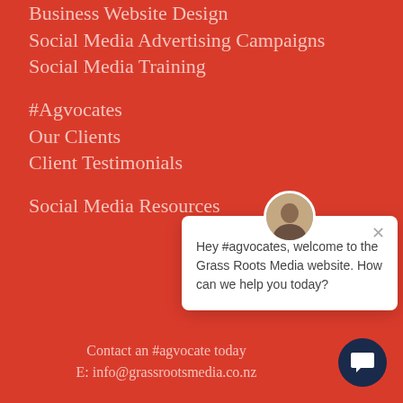Business Website Design
Social Media Advertising Campaigns
Social Media Training
#Agvocates
Our Clients
Client Testimonials
Social Media Resources
[Figure (screenshot): Chat popup widget with avatar photo, close button (×), and message: Hey #agvocates, welcome to the Grass Roots Media website. How can we help you today?]
Contact an #agvocate today
E: info@grassrootsmedia.co.nz